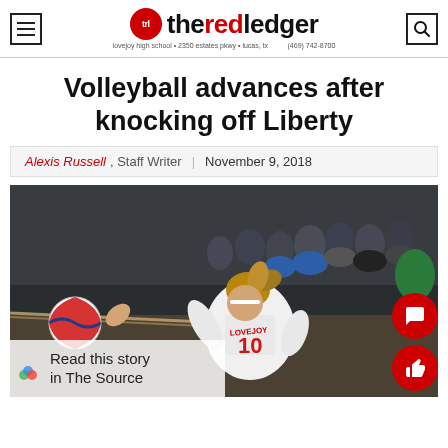theredledger — lovejoy high school · 2350 estates pkwy · lucas, tx · (469) 742-8700
Volleyball advances after knocking off Liberty
Alexis Russell, Staff Writer | November 9, 2018
[Figure (photo): A Lovejoy High School volleyball player wearing jersey #10 spiking the ball during a match against Liberty, with spectators visible in the background.]
Read this story in The Source